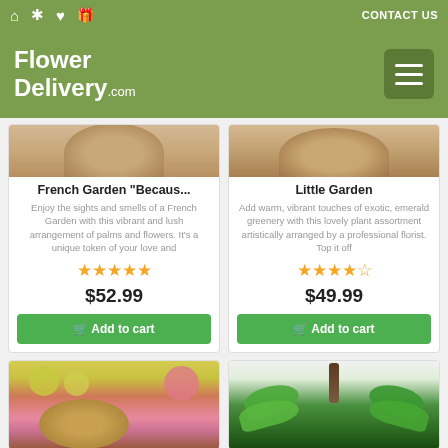FlowerDelivery.com — CONTACT US
[Figure (screenshot): Product card: French Garden 'Just Becaus...' with 5-star rating, $52.99 price, Add to cart button]
[Figure (screenshot): Product card: Little Garden with 4.5-star rating, $49.99 price, Add to cart button]
[Figure (photo): Partially visible product card showing yellow and pink flowers in a basket]
[Figure (photo): Partially visible product card showing green tropical plant with support stake]